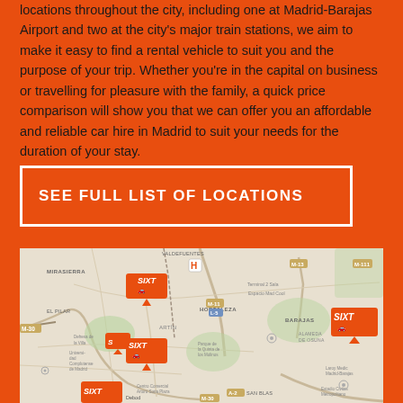locations throughout the city, including one at Madrid-Barajas Airport and two at the city's major train stations, we aim to make it easy to find a rental vehicle to suit you and the purpose of your trip. Whether you're in the capital on business or travelling for pleasure with the family, a quick price comparison will show you that we can offer you an affordable and reliable car hire in Madrid to suit your needs for the duration of your stay.
SEE FULL LIST OF LOCATIONS
[Figure (map): Map of Madrid showing multiple Sixt car rental locations marked with orange pins/logos, including locations near MIRASIERRA, ARTÍN, BARAJAS, HORTALEZA, SAN BLAS areas. Map labels include VALDEFUENTES, EL PILAR, Dehesa de la Villa, Universidad Complutense de Madrid, Parque de la Quinta de los Molinos, ALAMEDA DE OSUNA, Centro Comercial Arturo Soria Plaza, Estadio Civitas Metropolitano, Laroy Medic Madrid-Barajas, Debod, Terminal 2 Sala.]